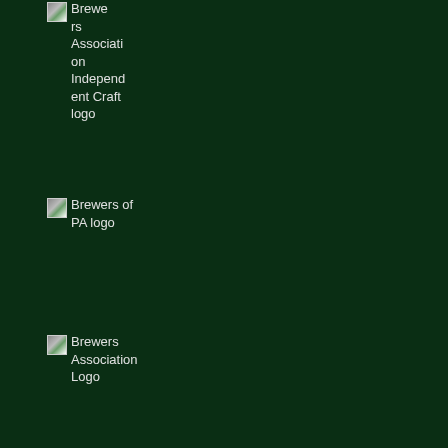[Figure (logo): Brewers Association Independent Craft logo (broken image placeholder)]
[Figure (logo): Brewers of PA logo (broken image placeholder)]
[Figure (logo): Brewers Association Logo (broken image placeholder)]